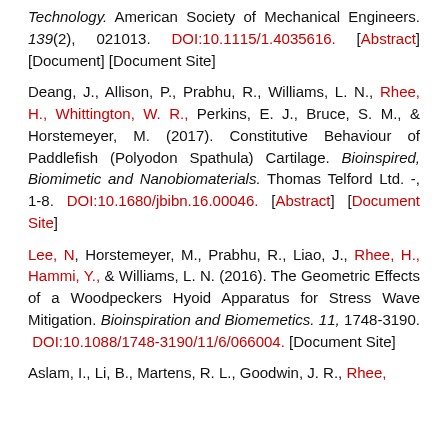Technology. American Society of Mechanical Engineers. 139(2), 021013. DOI:10.1115/1.4035616. [Abstract] [Document] [Document Site]
Deang, J., Allison, P., Prabhu, R., Williams, L. N., Rhee, H., Whittington, W. R., Perkins, E. J., Bruce, S. M., & Horstemeyer, M. (2017). Constitutive Behaviour of Paddlefish (Polyodon Spathula) Cartilage. Bioinspired, Biomimetic and Nanobiomaterials. Thomas Telford Ltd. -, 1-8. DOI:10.1680/jbibn.16.00046. [Abstract] [Document Site]
Lee, N, Horstemeyer, M., Prabhu, R., Liao, J., Rhee, H., Hammi, Y., & Williams, L. N. (2016). The Geometric Effects of a Woodpeckers Hyoid Apparatus for Stress Wave Mitigation. Bioinspiration and Biomemetics. 11, 1748-3190. DOI:10.1088/1748-3190/11/6/066004. [Document Site]
Aslam, I., Li, B., Martens, R. L., Goodwin, J. R., Rhee,